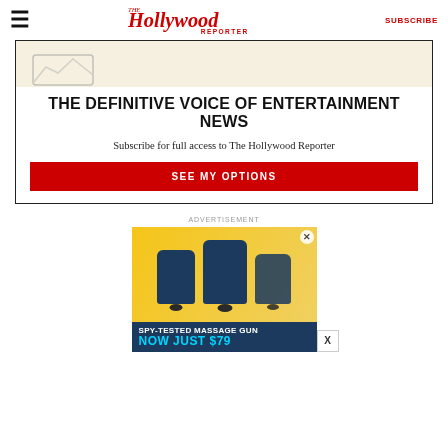The Hollywood Reporter | SUBSCRIBE
[Figure (other): Subscription paywall box with image placeholder at top, headline 'THE DEFINITIVE VOICE OF ENTERTAINMENT NEWS', description text, and red SEE MY OPTIONS button]
ADVERTISEMENT
[Figure (other): SPY advertisement banner showing blue massage guns on yellow background with text 'SPY-TESTED MASSAGE GUN NOW JUST $79' and SPY logo]